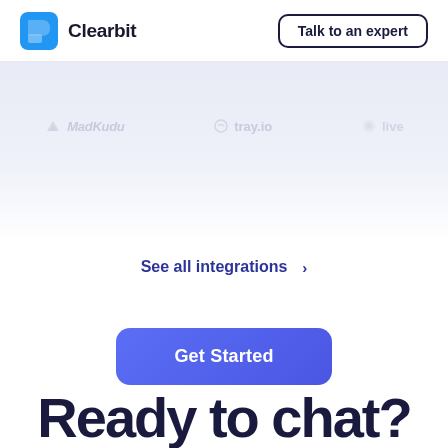Clearbit | Talk to an expert
[Figure (logo): Clearbit logo: blue geometric icon with company name]
[Figure (illustration): Light blue/purple gradient background section with faded integration partner logos: MadKudu, tray.io, and a third partially visible logo]
See all integrations >
Get Started
Ready to chat?